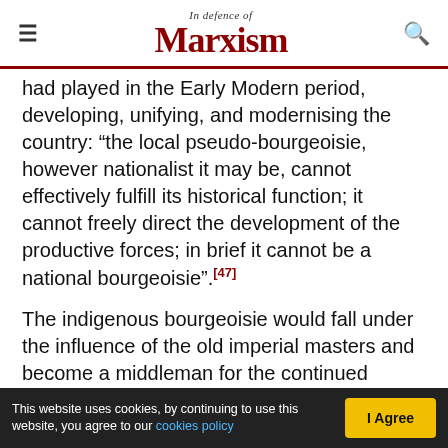In Defence of Marxism
had played in the Early Modern period, developing, unifying, and modernising the country: “the local pseudo-bourgeoisie, however nationalist it may be, cannot effectively fulfill its historical function; it cannot freely direct the development of the productive forces; in brief it cannot be a national bourgeoisie”.[47]
The indigenous bourgeoisie would fall under the influence of the old imperial masters and become a middleman for the continued plundering of the imperialists – independence under capitalism would only give rise to “neocolonialism”. Cabral shared
This website uses cookies, by continuing to use this website, you agree to our cookies policy   I Agree